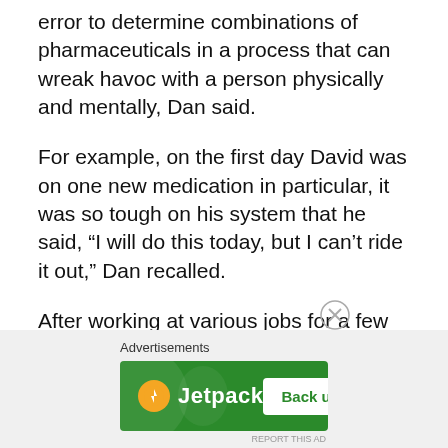error to determine combinations of pharmaceuticals in a process that can wreak havoc with a person physically and mentally, Dan said.
For example, on the first day David was on one new medication in particular, it was so tough on his system that he said, “I will do this today, but I can’t ride it out,” Dan recalled.
After working at various jobs for a few years, David overdosed for the first time but did not leave a note. He left a note before a second attempt, but not before his fatal one.
[Figure (other): Advertisement banner for Jetpack plugin with green background, Jetpack logo on left and 'Back up your site' button on right. Labeled 'Advertisements' above.]